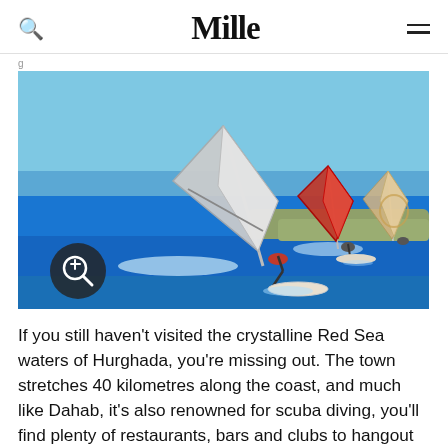Mille
[Figure (photo): Three windsurfers on the bright blue Red Sea waters near Hurghada, Egypt, with a clear blue sky and rocky coastline in the background. A zoom/magnify button icon is visible in the lower left of the image.]
If you still haven't visited the crystalline Red Sea waters of Hurghada, you're missing out. The town stretches 40 kilometres along the coast, and much like Dahab, it's also renowned for scuba diving, you'll find plenty of restaurants, bars and clubs to hangout in during your stay. You won't